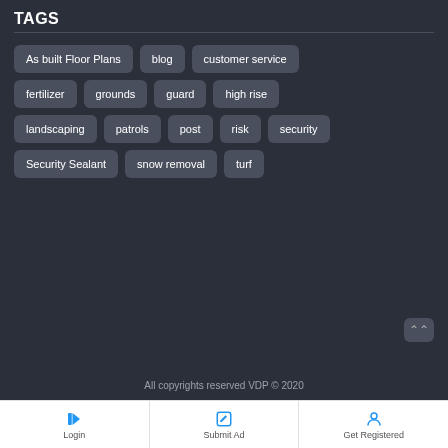TAGS
As built Floor Plans
blog
customer service
fertilizer
grounds
guard
high rise
landscaping
patrols
post
risk
security
Security Sealant
snow removal
turf
All copyrights reserved VDP © 2020
Login
Submit Ad
Get Registered